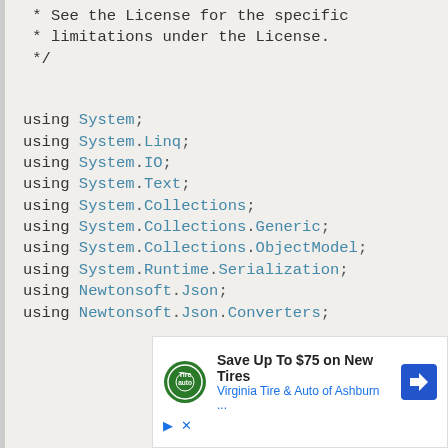* See the License for the specific
 * limitations under the License.
 */
using System;
using System.Linq;
using System.IO;
using System.Text;
using System.Collections;
using System.Collections.Generic;
using System.Collections.ObjectModel;
using System.Runtime.Serialization;
using Newtonsoft.Json;
using Newtonsoft.Json.Converters;
[Figure (other): Advertisement banner for Tire Auto: Save Up To $75 on New Tires, Virginia Tire & Auto of Ashburn ...]